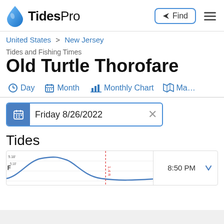TidesPro — Find
United States > New Jersey
Tides and Fishing Times
Old Turtle Thorofare
Day  Month  Monthly Chart  Ma…
Friday 8/26/2022
Tides
[Figure (continuous-plot): Partial tide chart showing a curve with label '5.18'' and a red vertical dashed marker labeled '1.4 ft', time label '8:50 PM' on the right]